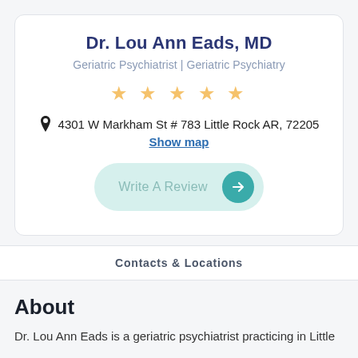Dr. Lou Ann Eads, MD
Geriatric Psychiatrist | Geriatric Psychiatry
★★★★★
4301 W Markham St # 783 Little Rock AR, 72205
Show map
Write A Review
Contacts & Locations
About
Dr. Lou Ann Eads is a geriatric psychiatrist practicing in Little